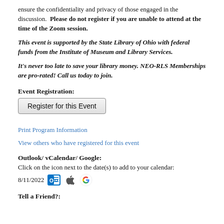ensure the confidentiality and privacy of those engaged in the discussion.  Please do not register if you are unable to attend at the time of the Zoom session.
This event is supported by the State Library of Ohio with federal funds from the Institute of Museum and Library Services.
It's never too late to save your library money. NEO-RLS Memberships are pro-rated! Call us today to join.
Event Registration:
Register for this Event
Print Program Information
View others who have registered for this event
Outlook/ vCalendar/ Google:
Click on the icon next to the date(s) to add to your calendar:
8/11/2022
Tell a Friend?: